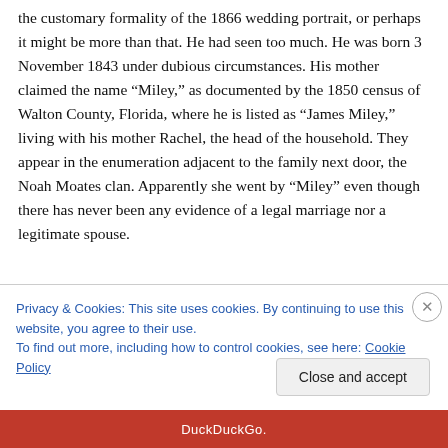the customary formality of the 1866 wedding portrait, or perhaps it might be more than that. He had seen too much. He was born 3 November 1843 under dubious circumstances. His mother claimed the name “Miley,” as documented by the 1850 census of Walton County, Florida, where he is listed as “James Miley,” living with his mother Rachel, the head of the household. They appear in the enumeration adjacent to the family next door, the Noah Moates clan. Apparently she went by “Miley” even though there has never been any evidence of a legal marriage nor a legitimate spouse.
Privacy & Cookies: This site uses cookies. By continuing to use this website, you agree to their use.
To find out more, including how to control cookies, see here: Cookie Policy
Close and accept